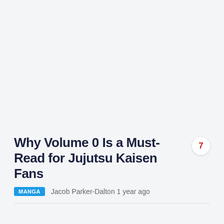Why Volume 0 Is a Must-Read for Jujutsu Kaisen Fans
MANGA  Jacob Parker-Dalton 1 year ago